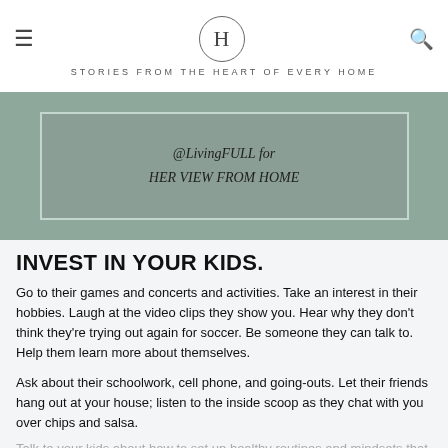H — STORIES FROM THE HEART OF EVERY HOME
[Figure (illustration): Muted green rectangular image area with text credit '@LivingFULL for HER VIEW FROM HOME' in italic serif font, overlaid on a sage green background with a bordered rectangle]
INVEST IN YOUR KIDS.
Go to their games and concerts and activities. Take an interest in their hobbies. Laugh at the video clips they show you. Hear why they don't think they're trying out again for soccer. Be someone they can talk to. Help them learn more about themselves.
Ask about their schoolwork, cell phone, and going-outs. Let their friends hang out at your house; listen to the inside scoop as they chat with you over chips and salsa. Talk to your kids about how to set up healthy routines and mindsets that serve them well. Remind them how loved they are by helping them navigate being a big kid.